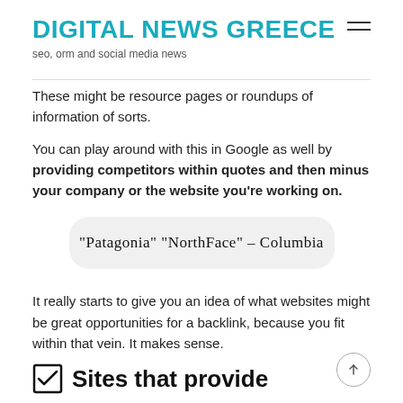DIGITAL NEWS GREECE
seo, orm and social media news
These might be resource pages or roundups of information of sorts.
You can play around with this in Google as well by providing competitors within quotes and then minus your company or the website you're working on.
[Figure (other): Handwritten text in a rounded grey box: "Patagonia" "NorthFace" – Columbia]
It really starts to give you an idea of what websites might be great opportunities for a backlink, because you fit within that vein. It makes sense.
Sites that provide